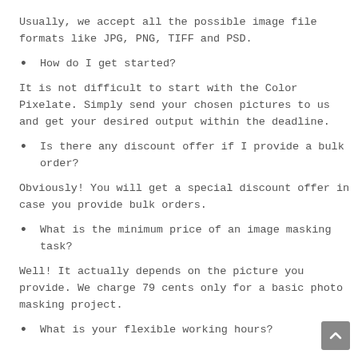Usually, we accept all the possible image file formats like JPG, PNG, TIFF and PSD.
How do I get started?
It is not difficult to start with the Color Pixelate. Simply send your chosen pictures to us and get your desired output within the deadline.
Is there any discount offer if I provide a bulk order?
Obviously! You will get a special discount offer in case you provide bulk orders.
What is the minimum price of an image masking task?
Well! It actually depends on the picture you provide. We charge 79 cents only for a basic photo masking project.
What is your flexible working hours?